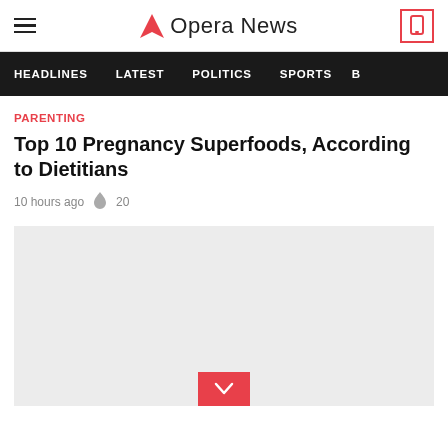Opera News
HEADLINES  LATEST  POLITICS  SPORTS
PARENTING
Top 10 Pregnancy Superfoods, According to Dietitians
10 hours ago  20
[Figure (other): Gray placeholder image with red chevron/down button at bottom center]